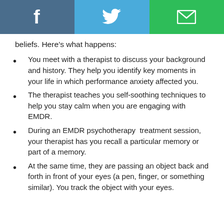[Figure (infographic): Social sharing header bar with three sections: Facebook (dark blue with 'f' icon), Twitter (light blue with bird icon), and Email (green with envelope icon)]
beliefs. Here's what happens:
You meet with a therapist to discuss your background and history. They help you identify key moments in your life in which performance anxiety affected you.
The therapist teaches you self-soothing techniques to help you stay calm when you are engaging with EMDR.
During an EMDR psychotherapy treatment session, your therapist has you recall a particular memory or part of a memory.
At the same time, they are passing an object back and forth in front of your eyes (a pen, finger, or something similar). You track the object with your eyes.